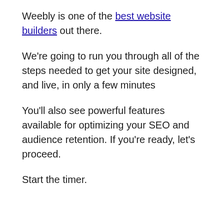Weebly is one of the best website builders out there.
We're going to run you through all of the steps needed to get your site designed, and live, in only a few minutes
You'll also see powerful features available for optimizing your SEO and audience retention. If you're ready, let's proceed.
Start the timer.